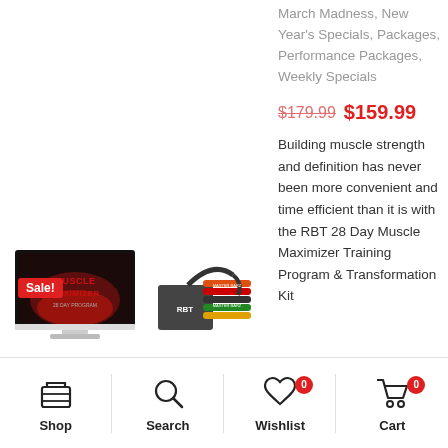March Madness, New Year's Specials, Packages, Performance Packages, Weekly Specials
[Figure (photo): Product image showing a monitor displaying the Muscle Maximizer 28 Day Program with a Sale! badge, and an RBT resistance band kit next to it]
$179.99  $159.99
Building muscle strength and definition has never been more convenient and time efficient than it is with the RBT 28 Day Muscle Maximizer Training Program & Transformation Kit
Shop  Search  Wishlist 0  Cart 0